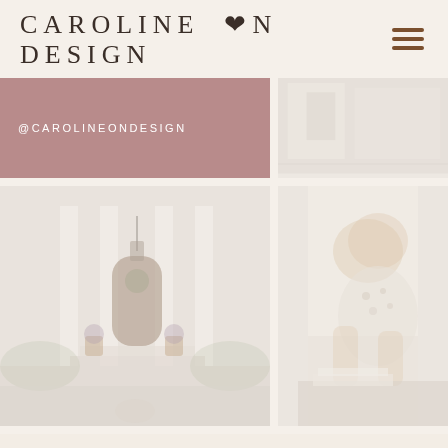CAROLINE ON DESIGN
[Figure (screenshot): Instagram handle block with mauve/rose background showing @CAROLINEONDESIGN text]
[Figure (photo): Faded interior room photo on right side of top row]
[Figure (photo): Faded exterior house/front door photo with white columns, arched door, and fall decorations]
[Figure (photo): Faded photo of woman working at table with papers/books]
[Figure (photo): Partial bottom image showing faded text ME BL on cream background]